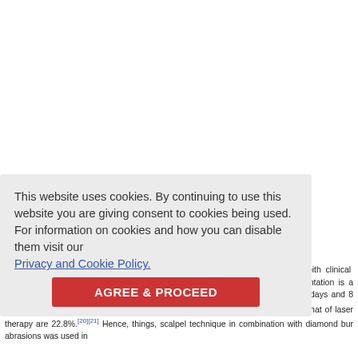[Figure (other): White blank top area representing obscured/image content]
This website uses cookies. By continuing to use this website you are giving consent to cookies being used. For information on cookies and how you can disable them visit our Privacy and Cookie Policy.
AGREE & PROCEED
Re-pigmentation occurs due to the migration of melanocytes to superficial epith clinical reappearance of melanin pigment occurred sometimes after dep pigmentation is a common problem which occurs in every single case. The re occur between 24 days and 8 years.[19] Studies suggest that chances of re- scalpel technique are 21.4% and that of laser therapy are 22.8%.[20][21] Hence, things, scalpel technique in combination with diamond bur abrasions was used in